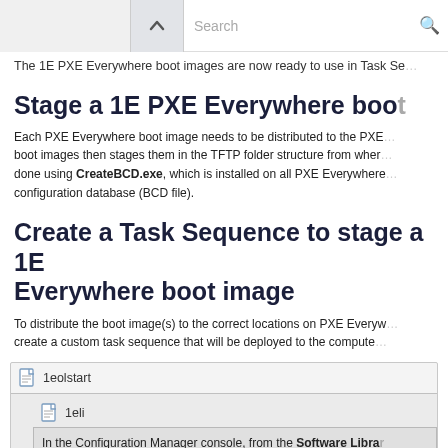Search
The 1E PXE Everywhere boot images are now ready to use in Task Se...
Stage a 1E PXE Everywhere boot...
Each PXE Everywhere boot image needs to be distributed to the PXE... boot images then stages them in the TFTP folder structure from wher... done using CreateBCD.exe, which is installed on all PXE Everywhere... configuration database (BCD file).
Create a Task Sequence to stage a 1E Everywhere boot image
To distribute the boot image(s) to the correct locations on PXE Everyw... create a custom task sequence that will be deployed to the compute...
[Figure (screenshot): Screenshot showing a Configuration Manager task sequence interface with nodes '1eolstart' and '1eli'. The '1eli' node contains text: 'In the Configuration Manager console, from the Software Libr... and Operating System... point list... Task Se...']